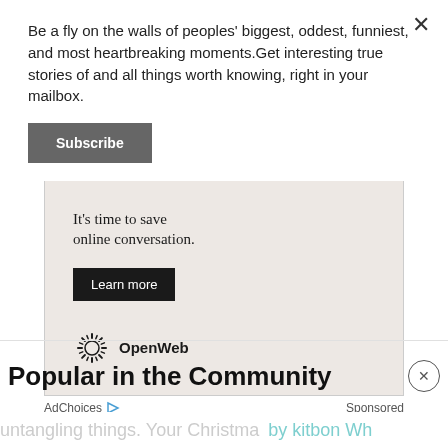Be a fly on the walls of peoples' biggest, oddest, funniest, and most heartbreaking moments.Get interesting true stories of and all things worth knowing, right in your mailbox.
Subscribe
[Figure (screenshot): OpenWeb advertisement: 'It's time to save online conversation.' with a 'Learn more' button and OpenWeb logo.]
AdChoices  Sponsored
Popular in the Community
untangling things. Your Christma  by kitbon Wh